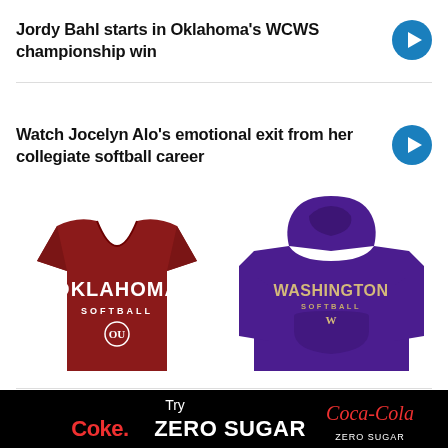Jordy Bahl starts in Oklahoma's WCWS championship win
Watch Jocelyn Alo's emotional exit from her collegiate softball career
[Figure (photo): Oklahoma Softball red t-shirt and Washington Softball purple hoodie merchandise]
SHOP NCAA SOFTBALL GEAR
[Figure (advertisement): Coca-Cola Zero Sugar advertisement banner on black background with text 'Try Coke. ZERO SUGAR']